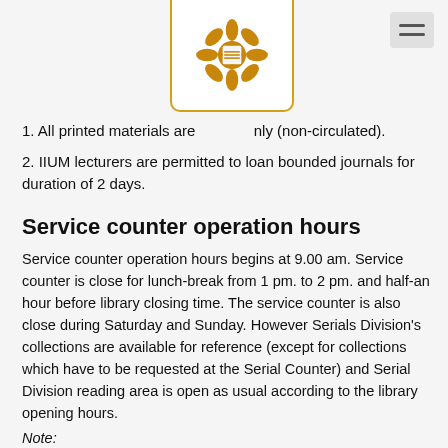[Figure (logo): IIUM golden flower logo in a white box with gold border]
1. All printed materials are ... only (non-circulated).
2. IIUM lecturers are permitted to loan bounded journals for duration of 2 days.
Service counter operation hours
Service counter operation hours begins at 9.00 am. Service counter is close for lunch-break from 1 pm. to 2 pm. and half-an hour before library closing time. The service counter is also close during Saturday and Sunday. However Serials Division’s collections are available for reference (except for collections which have to be requested at the Serial Counter) and Serial Division reading area is open as usual according to the library opening hours.
Note:
Beginning February 2012, the Serial Division Reading area is a “Silent Study Area” where this area is completely silent to accommodate those who prefer studying in silence.